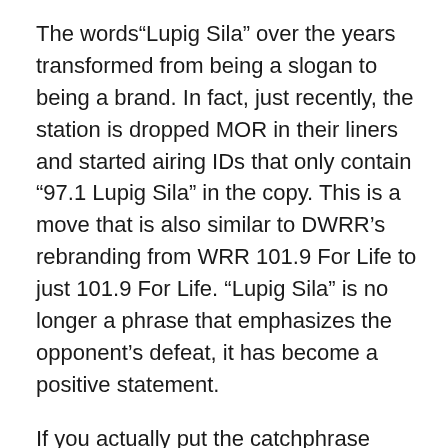The words“Lupig Sila” over the years transformed from being a slogan to being a brand. In fact, just recently, the station is dropped MOR in their liners and started airing IDs that only contain “97.1 Lupig Sila” in the copy. This is a move that is also similar to DWRR’s rebranding from WRR 101.9 For Life to just 101.9 For Life. “Lupig Sila” is no longer a phrase that emphasizes the opponent’s defeat, it has become a positive statement.
If you actually put the catchphrase “Lupig Sila” side by side with other popular slogans of masa radio stations, it stands out. All other masa cathphrases like “Bisyo Na To”, “Kailangan Pa Bang I-memorize Yan”, and “Pwede!” centers on the station. “Lupig Sila” says something about the rival station, that they are “talo” — an effective radio marketing strategy indeed. The listener would not want to